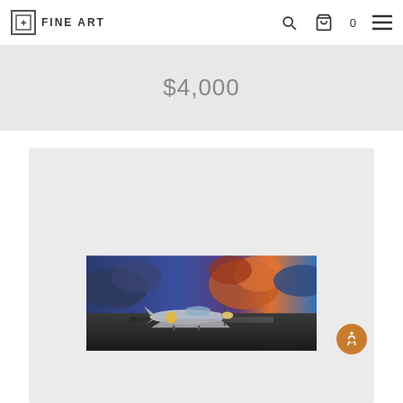FINE ART
$4,000
[Figure (photo): A silver P-51 Mustang propeller aircraft parked on a runway tarmac under a dramatic sunset sky with deep blue, purple, and orange clouds.]
VELOCITY
Limited Edition